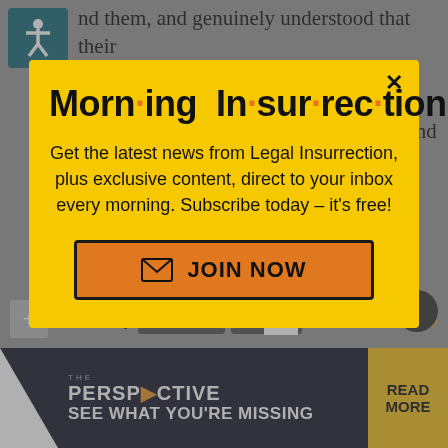nd them, and genuinely understood that their ous life was in any danger whatsoever, they would be the first ones donning masks and socially distancing. Heck, they'd be holed up in some multi-million dollar estate until it was safe to come out.
[Figure (infographic): Modal popup advertisement for Morning Insurrection email newsletter on yellow background with close button X. Title reads 'Morn·ing In·sur·rec·tion'. Body text: 'Get the latest news from Legal Insurrection, plus exclusive content, direct to your inbox every morning. Subscribe today – it's free!' with an orange JOIN NOW button with envelope icon.]
Share This Story
Facebook   Twitter
[Figure (infographic): Bottom banner advertisement for 'THE PERSPECTIVE' with text 'SEE WHAT YOU'RE MISSING' and 'READ MORE' button on yellow background. White triangle shape on left side, dark navy background.]